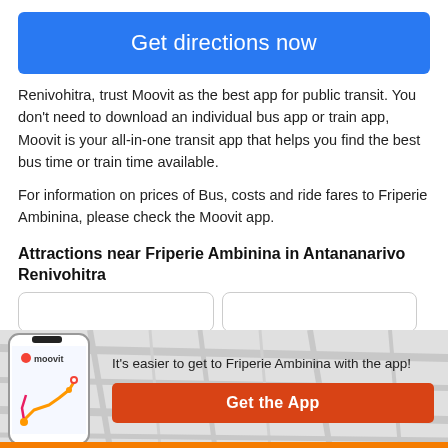Get directions now
Renivohitra, trust Moovit as the best app for public transit. You don't need to download an individual bus app or train app, Moovit is your all-in-one transit app that helps you find the best bus time or train time available.
For information on prices of Bus, costs and ride fares to Friperie Ambinina, please check the Moovit app.
Attractions near Friperie Ambinina in Antananarivo Renivohitra
[Figure (screenshot): Moovit app promotional banner with phone screenshot showing route map, text reading 'It's easier to get to Friperie Ambinina with the app!' and an orange 'Get the App' button]